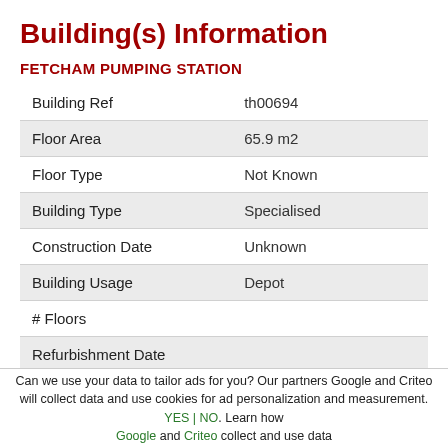Building(s) Information
FETCHAM PUMPING STATION
| Field | Value |
| --- | --- |
| Building Ref | th00694 |
| Floor Area | 65.9 m2 |
| Floor Type | Not Known |
| Building Type | Specialised |
| Construction Date | Unknown |
| Building Usage | Depot |
| # Floors |  |
| Refurbishment Date |  |
| Listed Building |  |
Can we use your data to tailor ads for you? Our partners Google and Criteo will collect data and use cookies for ad personalization and measurement. YES | NO. Learn how Google and Criteo collect and use data